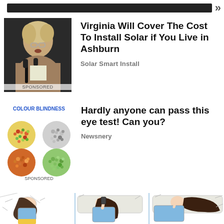[Figure (screenshot): Top navigation bar with dark banner and right-arrow chevron]
[Figure (photo): Photo of a woman speaking at a podium with microphones, labeled SPONSORED]
Virginia Will Cover The Cost To Install Solar if You Live in Ashburn
Solar Smart Install
[Figure (illustration): Colour blindness test circles illustration with text COLOUR BLINDNESS, labeled SPONSORED]
Hardly anyone can pass this eye test! Can you?
Newsnery
[Figure (illustration): Three-panel comic illustration of a woman in different sleeping positions, divided by blue vertical lines]